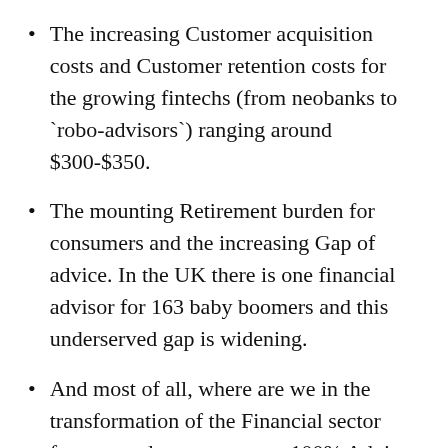The increasing Customer acquisition costs and Customer retention costs for the growing fintechs (from neobanks to 'robo-advisors') ranging around $300-$350.
The mounting Retirement burden for consumers and the increasing Gap of advice. In the UK there is one financial advisor for 163 baby boomers and this underserved gap is widening.
And most of all, where are we in the transformation of the Financial sector from a products sector to a 100% Advice sector? Advice being the last Man standing, as Gary